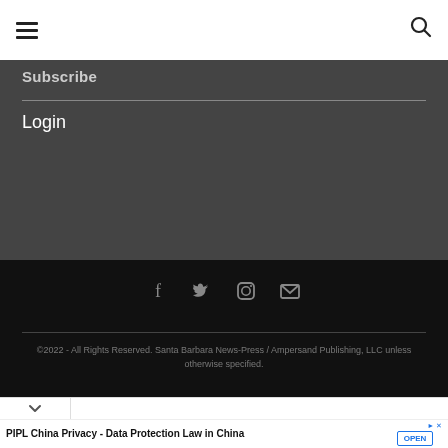☰  🔍
Subscribe
Login
[Figure (other): Social media icons row: Facebook, Twitter, Instagram, Email/envelope icons in gray on black background]
©2022 - All Rights Reserved. Santa Barbara News-Press / Ampersand Publishing, LLC unless otherwise specified.
PIPL China Privacy - Data Protection Law in China
Download the China data compliance guide to comply with all localization requirements. incountry.com